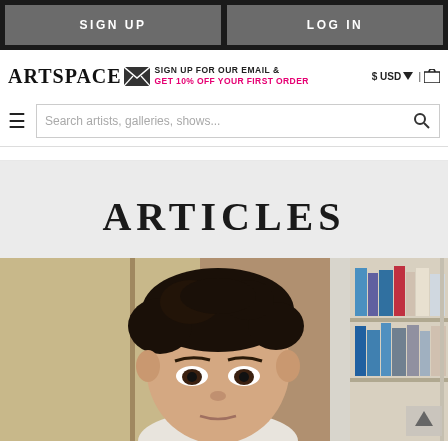SIGN UP | LOG IN
[Figure (screenshot): Artspace website header with logo, email signup promo, USD currency selector, hamburger menu, and search bar reading 'Search artists, galleries, shows...']
ARTICLES
[Figure (photo): Photo of a man with curly dark hair in front of a bookshelf containing various books and publications.]